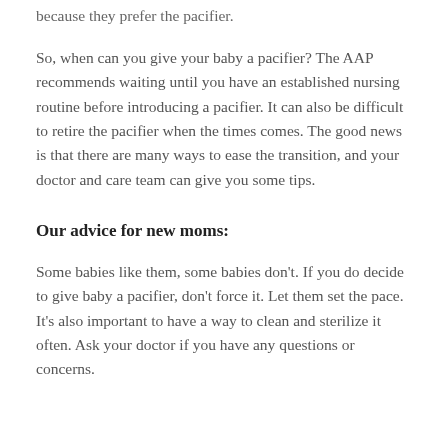because they prefer the pacifier.
So, when can you give your baby a pacifier? The AAP recommends waiting until you have an established nursing routine before introducing a pacifier. It can also be difficult to retire the pacifier when the times comes. The good news is that there are many ways to ease the transition, and your doctor and care team can give you some tips.
Our advice for new moms:
Some babies like them, some babies don't. If you do decide to give baby a pacifier, don't force it. Let them set the pace. It's also important to have a way to clean and sterilize it often. Ask your doctor if you have any questions or concerns.